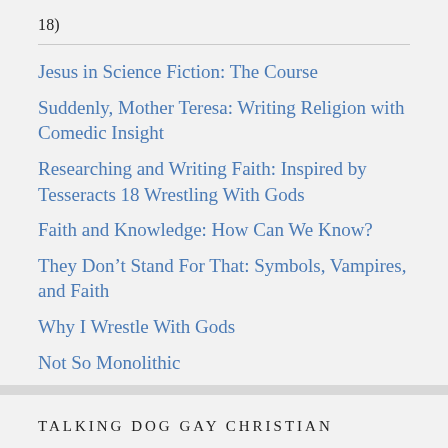18)
Jesus in Science Fiction: The Course
Suddenly, Mother Teresa: Writing Religion with Comedic Insight
Researching and Writing Faith: Inspired by Tesseracts 18 Wrestling With Gods
Faith and Knowledge: How Can We Know?
They Don’t Stand For That: Symbols, Vampires, and Faith
Why I Wrestle With Gods
Not So Monolithic
TALKING DOG GAY CHRISTIAN